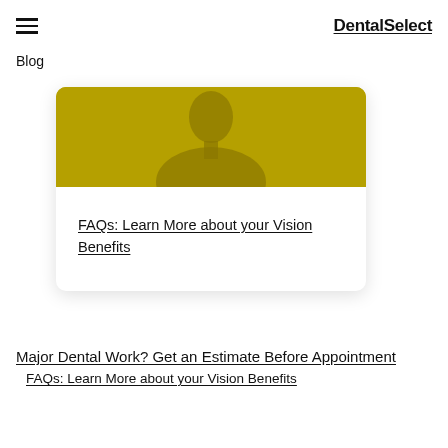DentalSelect
Blog
[Figure (photo): A person with a golden/yellow color overlay on the upper half of a card image]
FAQs: Learn More about your Vision Benefits
Major Dental Work? Get an Estimate Before Appointment
FAQs: Learn More about your Vision Benefits